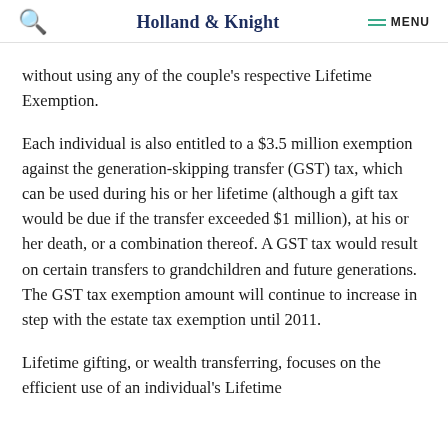Holland & Knight  MENU
without using any of the couple's respective Lifetime Exemption.
Each individual is also entitled to a $3.5 million exemption against the generation-skipping transfer (GST) tax, which can be used during his or her lifetime (although a gift tax would be due if the transfer exceeded $1 million), at his or her death, or a combination thereof. A GST tax would result on certain transfers to grandchildren and future generations. The GST tax exemption amount will continue to increase in step with the estate tax exemption until 2011.
Lifetime gifting, or wealth transferring, focuses on the efficient use of an individual's Lifetime